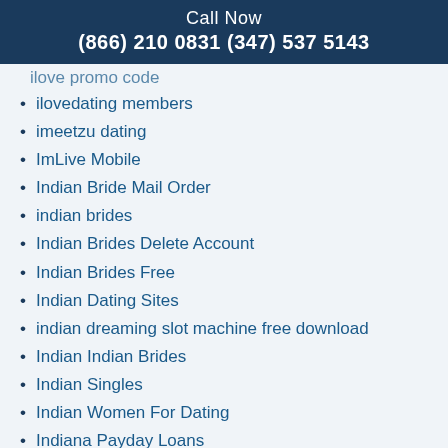Call Now
(866) 210 0831 (347) 537 5143
ilove promo code
ilovedating members
imeetzu dating
ImLive Mobile
Indian Bride Mail Order
indian brides
Indian Brides Delete Account
Indian Brides Free
Indian Dating Sites
indian dreaming slot machine free download
Indian Indian Brides
Indian Singles
Indian Women For Dating
Indiana Payday Loans
IndonesianCupid free trial
Installment Loans Ca
Installment Loans Illinois Online
Call Now
(866) 210 0831 (347) 537 5143